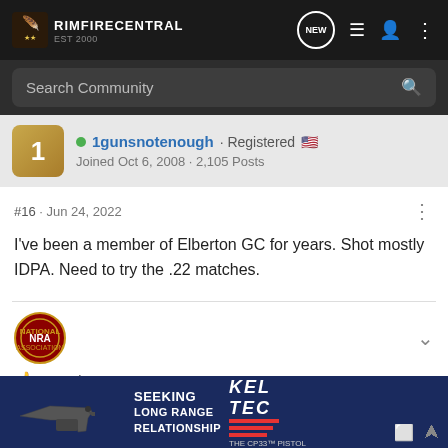RIMFIRECENTRAL
Search Community
1gunsnotenough · Registered
Joined Oct 6, 2008 · 2,105 Posts
#16 · Jun 24, 2022
I've been a member of Elberton GC for years. Shot mostly IDPA. Need to try the .22 matches.
Jonathan
[Figure (screenshot): Advertisement banner: SEEKING LONG RANGE RELATIONSHIP - KEL TEC THE CP33 PISTOL, showing a pistol image on dark blue background]